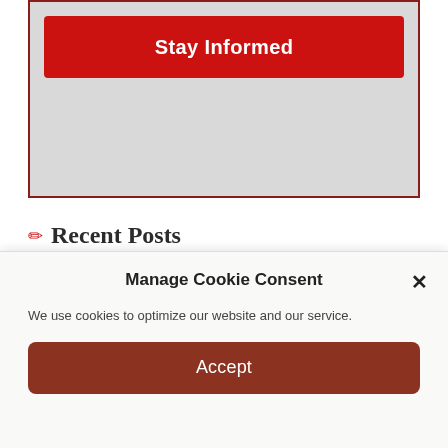[Figure (screenshot): A widget box with dark red border and grey background containing a red 'Stay Informed' button]
✏ Recent Posts
PLANNED DEMOLITION — Bill Holter
The fake vaccine took two months to kill this 13yr old. It just slowly killed her.
Manage Cookie Consent
We use cookies to optimize our website and our service.
Accept